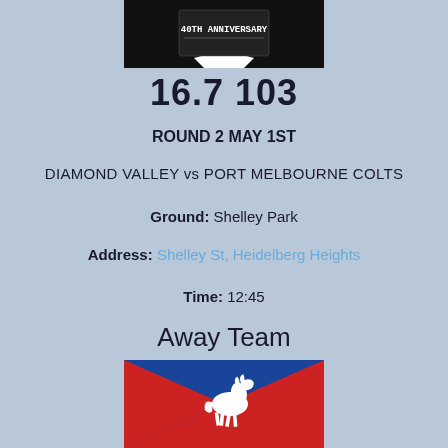[Figure (logo): 40th Anniversary banner/ribbon logo on dark background]
16.7 103
ROUND 2 MAY 1ST
DIAMOND VALLEY vs PORT MELBOURNE COLTS
Ground: Shelley Park
Address: Shelley St, Heidelberg Heights
Time: 12:45
Away Team
[Figure (logo): Port Melbourne Colts logo - white horse on red and blue diagonal background]